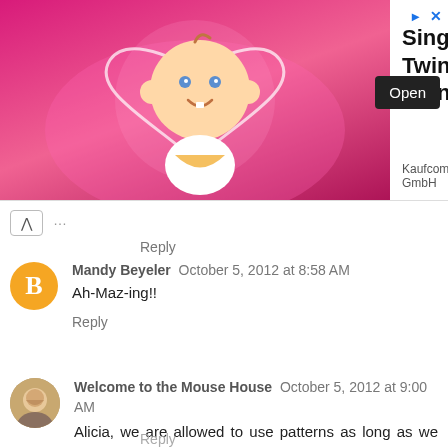[Figure (screenshot): Ad banner for 'Singing Twinkle Twinkle' by Kaufcom GmbH with animated baby character on pink background, Open button, and close/arrow icons]
Reply
Mandy Beyeler  October 5, 2012 at 8:58 AM
Ah-Maz-ing!!
Reply
Welcome to the Mouse House  October 5, 2012 at 9:00 AM
Alicia, we are allowed to use patterns as long as we alter them and modify them. And yes, I am pretty sure that every element of the outfit has to be handmade (other than things like shoes, buttons, etc)
Reply